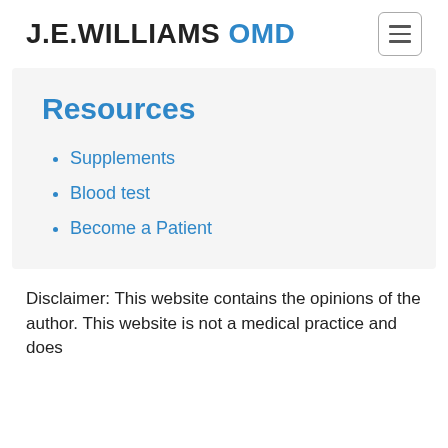J.E.WILLIAMS OMD
Resources
Supplements
Blood test
Become a Patient
Disclaimer: This website contains the opinions of the author. This website is not a medical practice and does